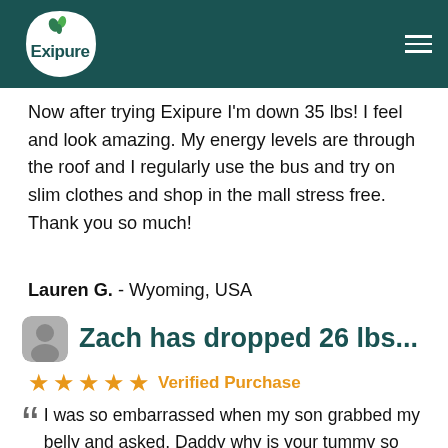Exipure
Now after trying Exipure I'm down 35 lbs! I feel and look amazing. My energy levels are through the roof and I regularly use the bus and try on slim clothes and shop in the mall stress free. Thank you so much!
Lauren G. - Wyoming, USA
Zach has dropped 26 lbs...
★★★★★ Verified Purchase
I was so embarrassed when my son grabbed my belly and asked, Daddy why is your tummy so squishy. I had to do something, and when I saw